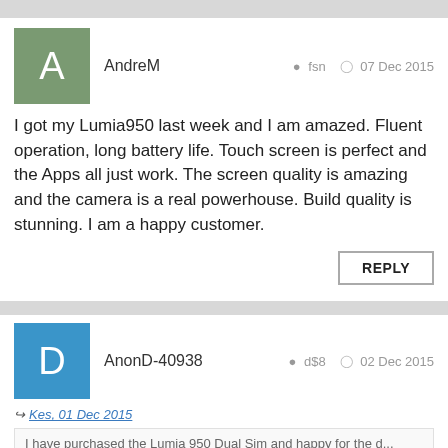AndreM   fsn   07 Dec 2015
I got my Lumia950 last week and I am amazed. Fluent operation, long battery life. Touch screen is perfect and the Apps all just work. The screen quality is amazing and the camera is a real powerhouse. Build quality is stunning. I am a happy customer.
AnonD-40938   d$8   02 Dec 2015
Kes, 01 Dec 2015
I have purchased the Lumia 950 Dual Sim and happy for the d... more
Congrats Dude, Can you plz tell me if there is only one Sim Card installed will it show that the second marked with (X) and if so is